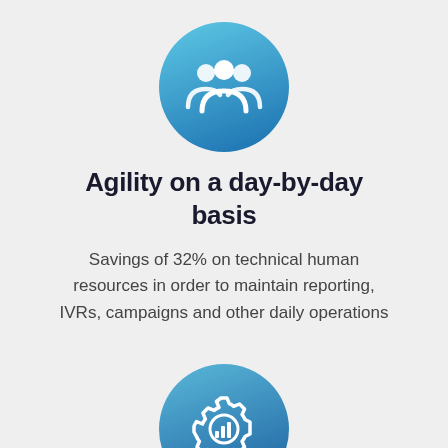[Figure (illustration): Blue gradient circle with white group-of-people (team/users) icon]
Agility on a day-by-day basis
Savings of 32% on technical human resources in order to maintain reporting, IVRs, campaigns and other daily operations
[Figure (illustration): Blue gradient circle with white gear-and-bar-chart icon]
Increased